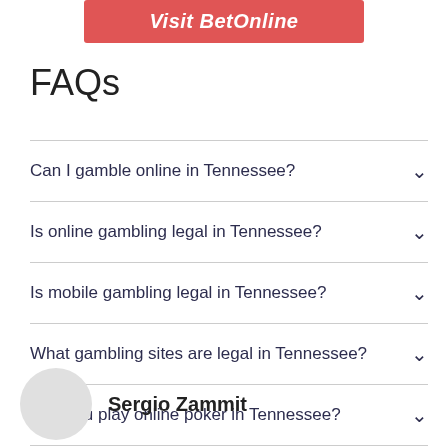[Figure (screenshot): Red button with white italic text 'Visit BetOnline']
FAQs
Can I gamble online in Tennessee?
Is online gambling legal in Tennessee?
Is mobile gambling legal in Tennessee?
What gambling sites are legal in Tennessee?
Can you play online poker in Tennessee?
Sergio Zammit